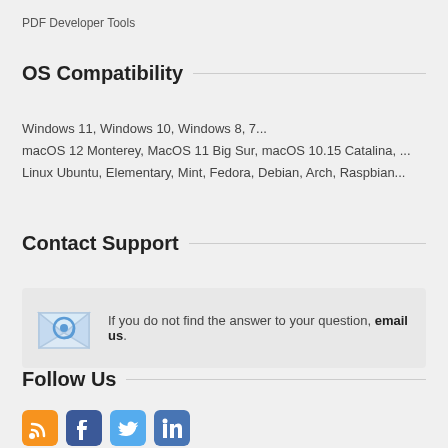PDF Developer Tools
OS Compatibility
Windows 11, Windows 10, Windows 8, 7...
macOS 12 Monterey, MacOS 11 Big Sur, macOS 10.15 Catalina, ...
Linux Ubuntu, Elementary, Mint, Fedora, Debian, Arch, Raspbian...
Contact Support
If you do not find the answer to your question, email us.
Follow Us
[Figure (infographic): Social media icons: RSS feed (orange), Facebook (dark blue), Twitter (light blue), LinkedIn (blue)]